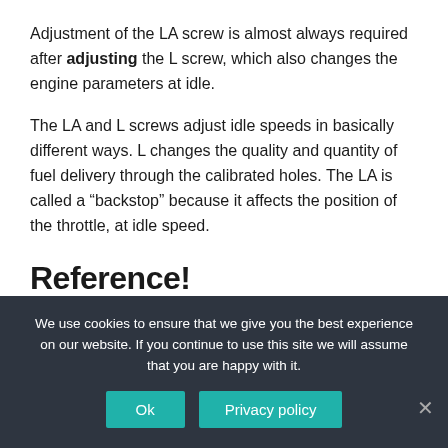Adjustment of the LA screw is almost always required after adjusting the L screw, which also changes the engine parameters at idle.
The LA and L screws adjust idle speeds in basically different ways. L changes the quality and quantity of fuel delivery through the calibrated holes. The LA is called a “backstop” because it affects the position of the throttle, at idle speed.
Reference!
We use cookies to ensure that we give you the best experience on our website. If you continue to use this site we will assume that you are happy with it.